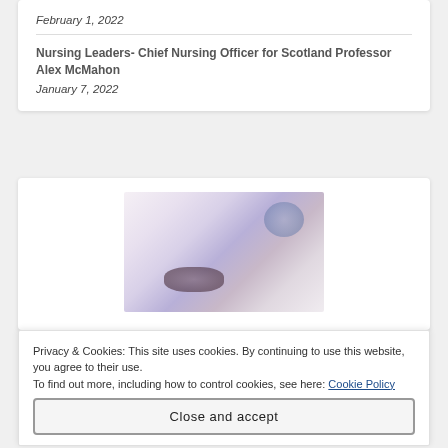February 1, 2022
Nursing Leaders- Chief Nursing Officer for Scotland Professor Alex McMahon
January 7, 2022
[Figure (photo): Blurred/motion-blur artistic photo, appears to show a person with light-colored hair]
Privacy & Cookies: This site uses cookies. By continuing to use this website, you agree to their use.
To find out more, including how to control cookies, see here: Cookie Policy
Close and accept